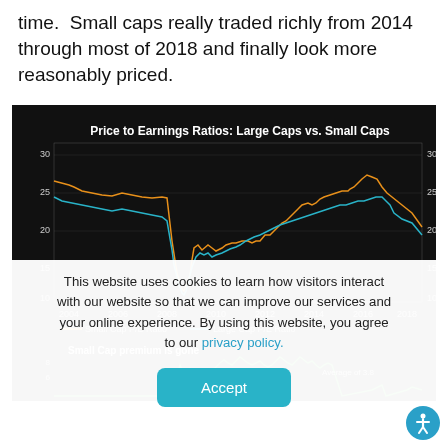time. Small caps really traded richly from 2014 through most of 2018 and finally look more reasonably priced.
[Figure (line-chart): Dual-axis line chart on black background showing Small Cap P/E Ratio (orange) and Large Cap P/E Ratio (blue) from 2004 to 2019. Y-axis ranges from 10 to 30. Both lines drop sharply around 2009 (financial crisis) then recover. Small Cap shows premium over Large Cap from 2014 to 2018. Lower sub-chart: 'Small Cap premium is gone' — green line showing premium, average of 3.8.]
This website uses cookies to learn how visitors interact with our website so that we can improve our services and your online experience. By using this website, you agree to our privacy policy.
Accept